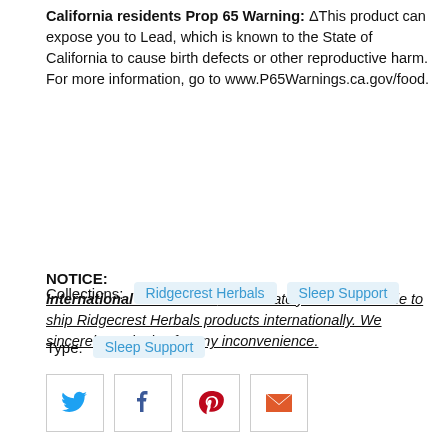California residents Prop 65 Warning: ΔThis product can expose you to Lead, which is known to the State of California to cause birth defects or other reproductive harm. For more information, go to www.P65Warnings.ca.gov/food.
NOTICE:
International Customers: Unfortunately we are not able to ship Ridgecrest Herbals products internationally. We sincerely apologize for any inconvenience.
Collections: Ridgecrest Herbals   Sleep Support
Type: Sleep Support
[Figure (other): Social share buttons: Twitter, Facebook, Pinterest, Email]